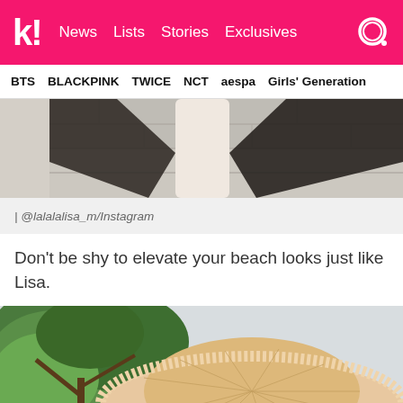k! News Lists Stories Exclusives
BTS BLACKPINK TWICE NCT aespa Girls' Generation
[Figure (photo): Top portion of a photo showing a person near a stone wall with dark wings or fabric visible, cropped at the bottom]
| @lalalalisa_m/Instagram
Don't be shy to elevate your beach looks just like Lisa.
[Figure (photo): Close-up photo of a person wearing a large wide-brim fringed straw hat, with trees visible in background]